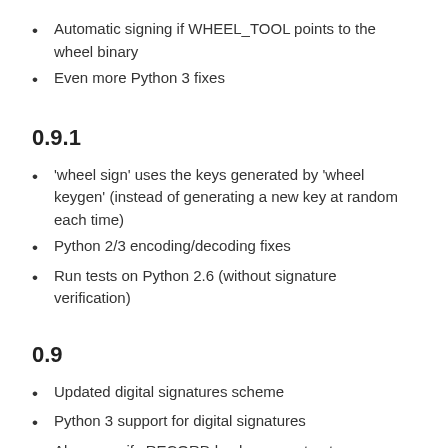Automatic signing if WHEEL_TOOL points to the wheel binary
Even more Python 3 fixes
0.9.1
‘wheel sign’ uses the keys generated by ‘wheel keygen’ (instead of generating a new key at random each time)
Python 2/3 encoding/decoding fixes
Run tests on Python 2.6 (without signature verification)
0.9
Updated digital signatures scheme
Python 3 support for digital signatures
Always verify RECORD hashes on extract
“wheel” command line tool to sign, verify, unpack wheel files